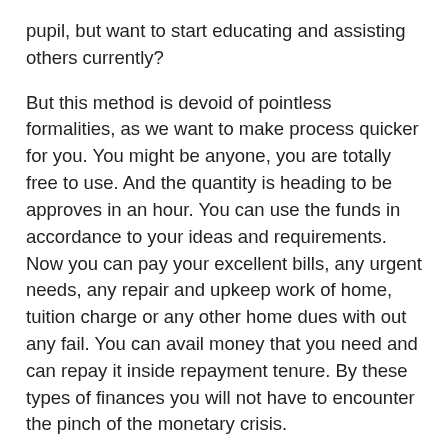pupil, but want to start educating and assisting others currently?
But this method is devoid of pointless formalities, as we want to make process quicker for you. You might be anyone, you are totally free to use. And the quantity is heading to be approves in an hour. You can use the funds in accordance to your ideas and requirements. Now you can pay your excellent bills, any urgent needs, any repair and upkeep work of home, tuition charge or any other home dues with out any fail. You can avail money that you need and can repay it inside repayment tenure. By these types of finances you will not have to encounter the pinch of the monetary crisis.
Data entry jobs in Delhi: This is the very easy profile which can be dealing with by anyone who has knowledge of computers. It doesn't need any particular qualification for